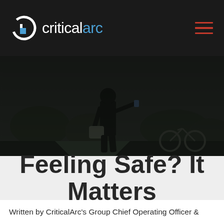criticalarc
[Figure (photo): Dark background photo of a person walking outdoors at dusk, holding a phone, with a bag over their shoulder. Trees and a bicycle visible in the background.]
Feeling Safe? It Matters
Written by CriticalArc's Group Chief Operating Officer &